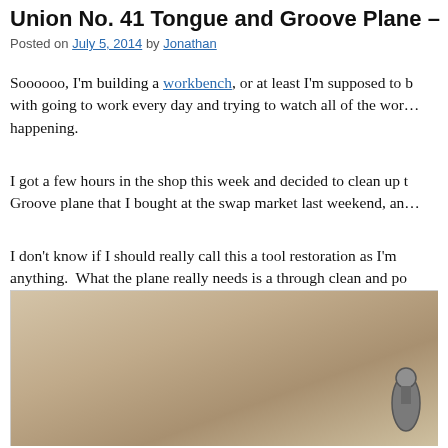Union No. 41 Tongue and Groove Plane –
Posted on July 5, 2014 by Jonathan
Soooooo, I'm building a workbench, or at least I'm supposed to be. Life gets in the way with going to work every day and trying to watch all of the wor... happening.
I got a few hours in the shop this week and decided to clean up the Tongue and Groove plane that I bought at the swap market last weekend, an...
I don't know if I should really call this a tool restoration as I'm not really restoring anything.  What the plane really needs is a through clean and po... refinishing.
[Figure (photo): Photo of a Union No. 41 Tongue and Groove Plane tool, showing a beige/tan background with the metallic tool visible]